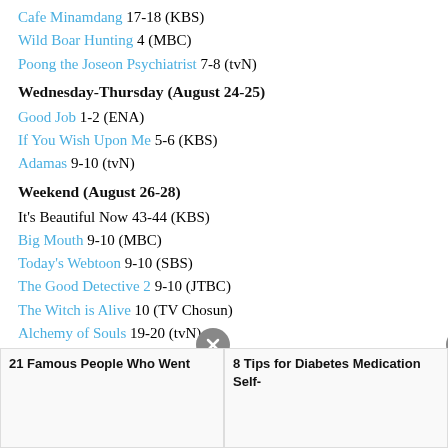Cafe Minamdang 17-18 (KBS)
Wild Boar Hunting 4 (MBC)
Poong the Joseon Psychiatrist 7-8 (tvN)
Wednesday-Thursday (August 24-25)
Good Job 1-2 (ENA)
If You Wish Upon Me 5-6 (KBS)
Adamas 9-10 (tvN)
Weekend (August 26-28)
It's Beautiful Now 43-44 (KBS)
Big Mouth 9-10 (MBC)
Today's Webtoon 9-10 (SBS)
The Good Detective 2 9-10 (JTBC)
The Witch is Alive 10 (TV Chosun)
Alchemy of Souls 19-20 (tvN)
21 Famous People Who Went
8 Tips for Diabetes Medication Self-